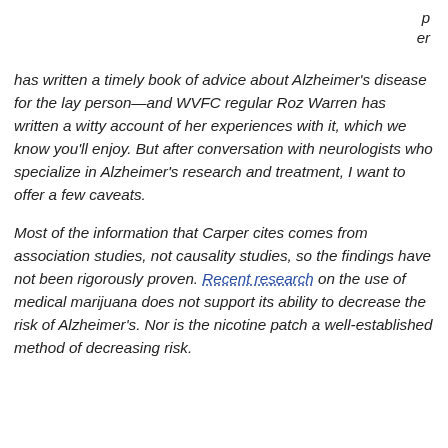p
er
has written a timely book of advice about Alzheimer's disease for the lay person—and WVFC regular Roz Warren has written a witty account of her experiences with it, which we know you'll enjoy. But after conversation with neurologists who specialize in Alzheimer's research and treatment, I want to offer a few caveats.
Most of the information that Carper cites comes from association studies, not causality studies, so the findings have not been rigorously proven. Recent research on the use of medical marijuana does not support its ability to decrease the risk of Alzheimer's. Nor is the nicotine patch a well-established method of decreasing risk.